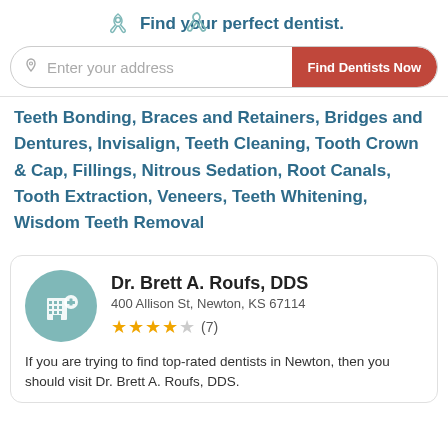Find your perfect dentist.
Teeth Bonding, Braces and Retainers, Bridges and Dentures, Invisalign, Teeth Cleaning, Tooth Crown & Cap, Fillings, Nitrous Sedation, Root Canals, Tooth Extraction, Veneers, Teeth Whitening, Wisdom Teeth Removal
[Figure (infographic): Dentist listing card for Dr. Brett A. Roufs, DDS at 400 Allison St, Newton, KS 67114, with 3.5 star rating (7 reviews) and a hospital/clinic icon avatar]
If you are trying to find top-rated dentists in Newton, then you should visit Dr. Brett A. Roufs, DDS.